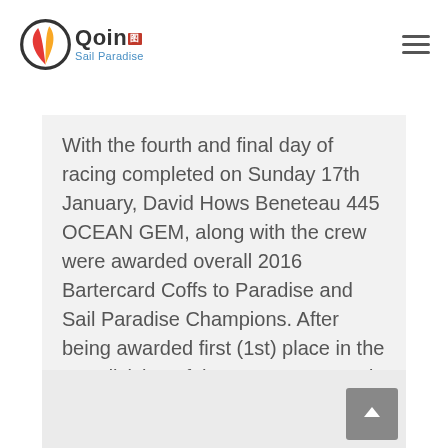Qoin Sail Paradise
With the fourth and final day of racing completed on Sunday 17th January, David Hows Beneteau 445 OCEAN GEM, along with the crew were awarded overall 2016 Bartercard Coffs to Paradise and Sail Paradise Champions. After being awarded first (1st) place in the IRC division of the 2016 Bartercard Coffs to Paradise Yacht Race earlier...
[Figure (other): Light grey background card area at the bottom of the page, likely a placeholder for another article or image block, with a back-to-top arrow button in the bottom-right corner.]